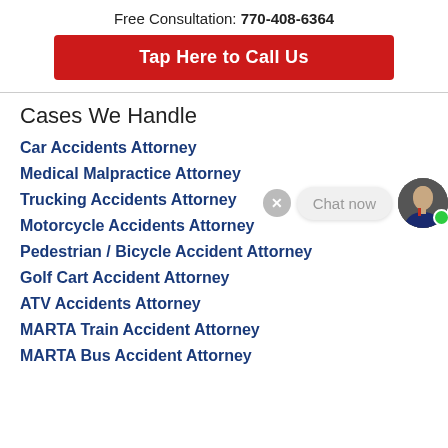Free Consultation: 770-408-6364
Tap Here to Call Us
Cases We Handle
Car Accidents Attorney
Medical Malpractice Attorney
Trucking Accidents Attorney
Motorcycle Accidents Attorney
Pedestrian / Bicycle Accident Attorney
Golf Cart Accident Attorney
ATV Accidents Attorney
MARTA Train Accident Attorney
MARTA Bus Accident Attorney